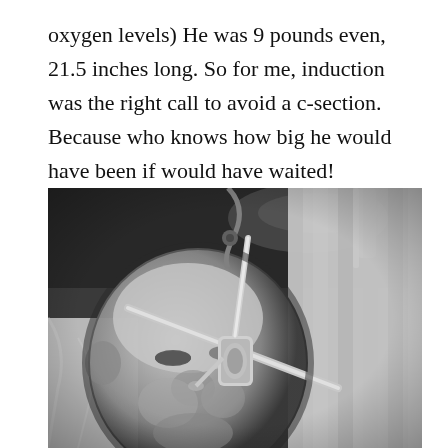oxygen levels) He was 9 pounds even, 21.5 inches long. So for me, induction was the right call to avoid a c-section. Because who knows how big he would have been if would have waited!
[Figure (photo): Black and white photograph of a newborn baby lying down with a medical tube/cannula near its face, wrapped in hospital blankets.]